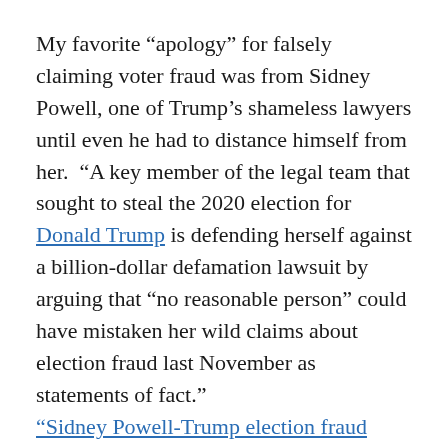My favorite “apology” for falsely claiming voter fraud was from Sidney Powell, one of Trump’s shameless lawyers until even he had to distance himself from her. “A key member of the legal team that sought to steal the 2020 election for Donald Trump is defending herself against a billion-dollar defamation lawsuit by arguing that “no reasonable person” could have mistaken her wild claims about election fraud last November as statements of fact.” “Sidney Powell–Trump election fraud claims”
I have struggled to understand how presumably decent people could continue to believe such obvious nonsense. The